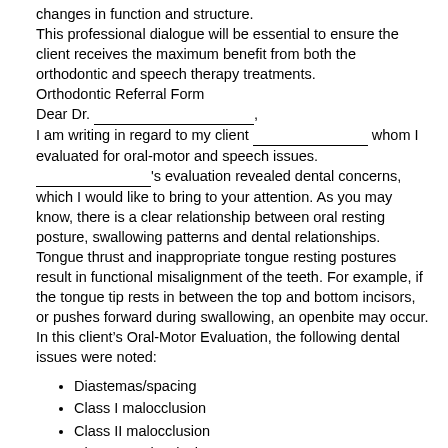changes in function and structure.
This professional dialogue will be essential to ensure the client receives the maximum benefit from both the orthodontic and speech therapy treatments.
Orthodontic Referral Form
Dear Dr. _________________________,
I am writing in regard to my client __________________ whom I evaluated for oral-motor and speech issues. __________________'s evaluation revealed dental concerns, which I would like to bring to your attention. As you may know, there is a clear relationship between oral resting posture, swallowing patterns and dental relationships. Tongue thrust and inappropriate tongue resting postures result in functional misalignment of the teeth. For example, if the tongue tip rests in between the top and bottom incisors, or pushes forward during swallowing, an openbite may occur.
In this client’s Oral-Motor Evaluation, the following dental issues were noted:
Diastemas/spacing
Class I malocclusion
Class II malocclusion
Class III malocclusion
Openbite